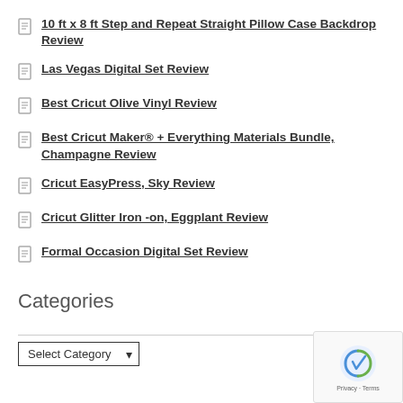10 ft x 8 ft Step and Repeat Straight Pillow Case Backdrop Review
Las Vegas Digital Set Review
Best Cricut Olive Vinyl Review
Best Cricut Maker® + Everything Materials Bundle, Champagne Review
Cricut EasyPress, Sky Review
Cricut Glitter Iron-on, Eggplant Review
Formal Occasion Digital Set Review
Categories